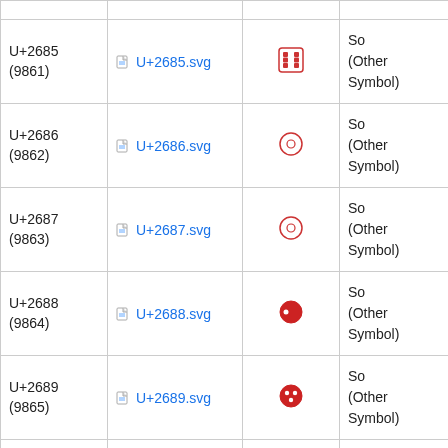| Code | Image | Symbol | Category | Name |
| --- | --- | --- | --- | --- |
| U+2685
(9861) | U+2685.svg | ⚅ | So
(Other
Symbol) | DIE... |
| U+2686
(9862) | U+2686.svg | ☺ | So
(Other
Symbol) | WH...
WI... |
| U+2687
(9863) | U+2687.svg | ☺ | So
(Other
Symbol) | WH...
WI... |
| U+2688
(9864) | U+2688.svg | ● | So
(Other
Symbol) | BL...
WI...
RIG... |
| U+2689
(9865) | U+2689.svg | ● | So
(Other
Symbol) | BL...
WI...
DO... |